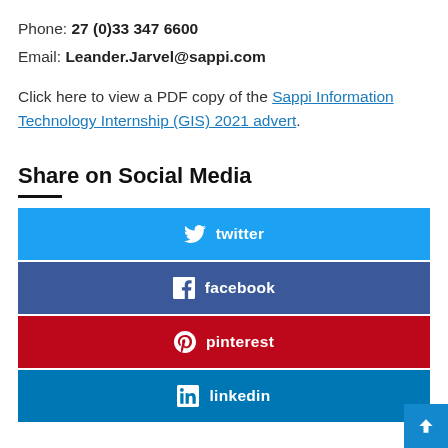Phone: 27 (0)33 347 6600
Email: Leander.Jarvel@sappi.com
Click here to view a PDF copy of the Sappi Information Technology Internship (GIS) 2021 advert.
Share on Social Media
[Figure (infographic): Social media share buttons: twitter (blue), facebook (dark blue), pinterest (red), linkedin (blue)]